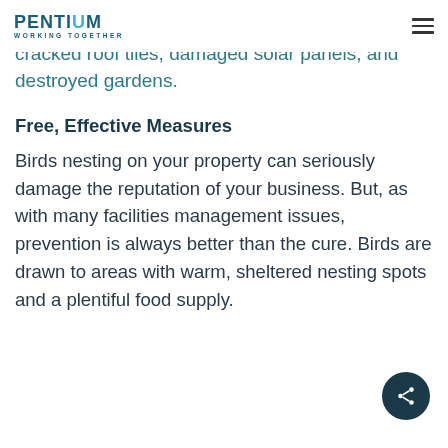PENTIUM WORKING TOGETHER
Other physical damage caused by birds includes cracked roof tiles, damaged solar panels, and destroyed gardens.
Free, Effective Measures
Birds nesting on your property can seriously damage the reputation of your business. But, as with many facilities management issues, prevention is always better than the cure. Birds are drawn to areas with warm, sheltered nesting spots and a plentiful food supply.